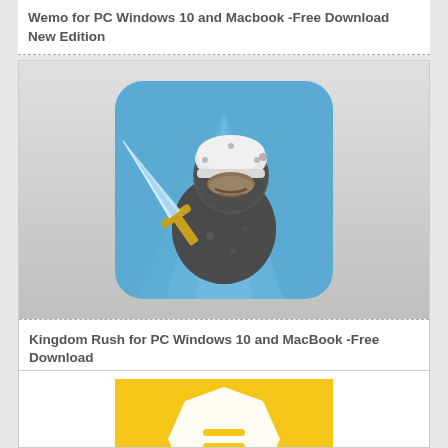Wemo for PC Windows 10 and Macbook -Free Download New Edition
[Figure (illustration): Kingdom Rush game icon: a rubber duck character wearing knight armor and helmet, holding a crystal sword, on a blue background with light rays]
Kingdom Rush for PC Windows 10 and MacBook -Free Download
[Figure (illustration): Yellow square app icon with a white octagonal/hexagonal shape containing an equals sign or message icon]